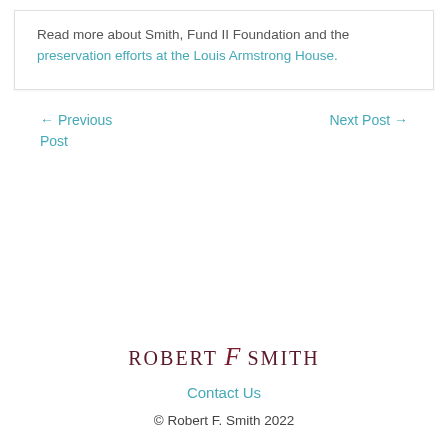Read more about Smith, Fund II Foundation and the preservation efforts at the Louis Armstrong House.
← Previous Post
Next Post →
[Figure (logo): Robert F Smith logo with stylized italic f in dark red/maroon]
Contact Us
© Robert F. Smith 2022